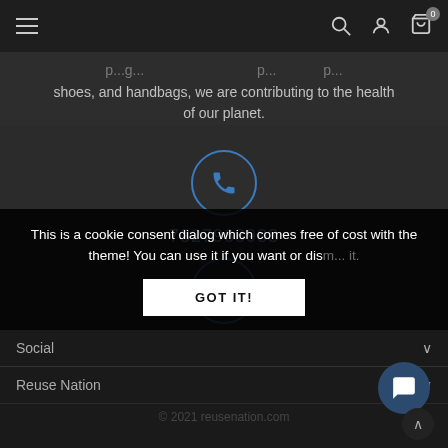[Figure (screenshot): Navigation bar with hamburger menu on left and search, user, cart icons on right. Cart shows badge with 0.]
shoes, and handbags, we are contributing to the health of our planet.
[Figure (infographic): Phone icon inside a blue circle outline]
7327968983
[Figure (infographic): Email envelope icon inside a blue circle outline]
marketing@reusenation.com
Social
Reuse Nation
This is a cookie consent dialog which comes free of cost with the theme! You can use it if you want or dismiss it.
GOT IT!
© 2021 reusenation.com